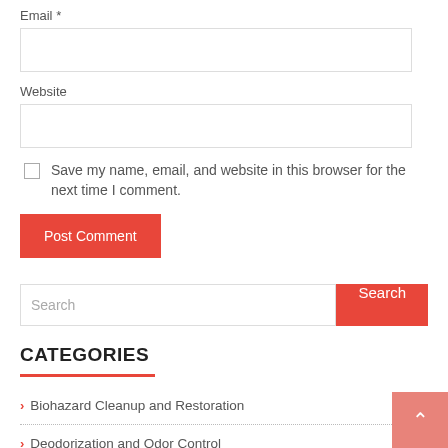Email *
Website
Save my name, email, and website in this browser for the next time I comment.
Post Comment
Search
CATEGORIES
Biohazard Cleanup and Restoration
Deodorization and Odor Control
Elderly Home Care